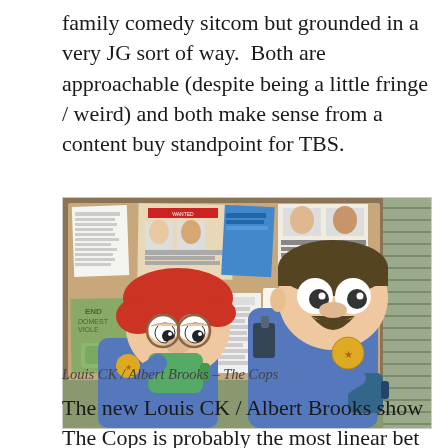family comedy sitcom but grounded in a very JG sort of way.  Both are approachable (despite being a little fringe / weird) and both make sense from a content buy standpoint for TBS.
[Figure (illustration): Animated cartoon illustration of two police officers in a precinct, one with red hair drinking from a green mug, the other taller with a mustache and badge, standing in front of a bulletin board with notices and papers pinned to it.]
Louis CK / Albert Brooks – The Cops
The new Louis CK / Albert Brooks show The Cops is probably the most linear bet out of the